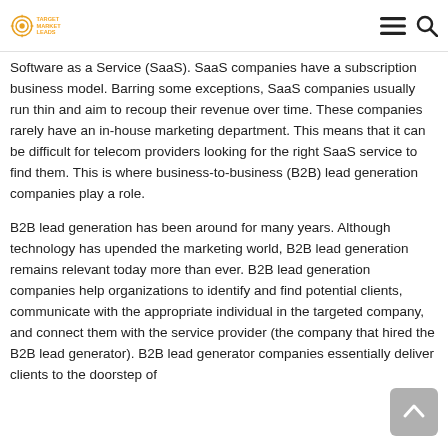Target Market Leads [logo] [hamburger menu] [search icon]
Software as a Service (SaaS). SaaS companies have a subscription business model. Barring some exceptions, SaaS companies usually run thin and aim to recoup their revenue over time. These companies rarely have an in-house marketing department. This means that it can be difficult for telecom providers looking for the right SaaS service to find them. This is where business-to-business (B2B) lead generation companies play a role.
B2B lead generation has been around for many years. Although technology has upended the marketing world, B2B lead generation remains relevant today more than ever. B2B lead generation companies help organizations to identify and find potential clients, communicate with the appropriate individual in the targeted company, and connect them with the service provider (the company that hired the B2B lead generator). B2B lead generator companies essentially deliver clients to the doorstep of